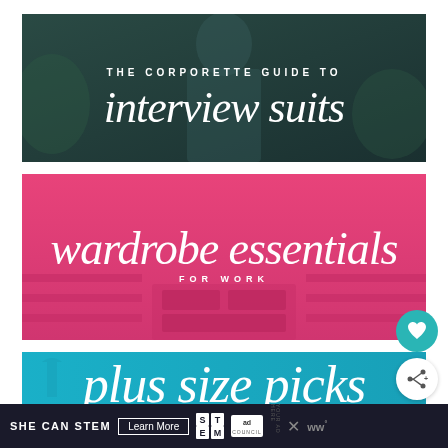[Figure (illustration): Dark teal banner with a woman in background, text: THE CORPORETTE GUIDE TO / interview suits]
[Figure (illustration): Hot pink banner with closet shelving in background, text: wardrobe essentials / FOR WORK]
[Figure (illustration): Teal/cyan banner with partial text: plus size picks]
SHE CAN STEM  Learn More
[Figure (logo): STEM logo, ad council logo, X mark, WW logo in dark ad bar at bottom]